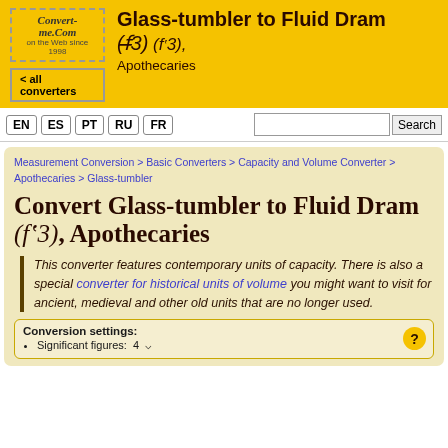Convert-me.Com on the Web since 1996
Glass-tumbler to Fluid Dram (f3), Apothecaries
< all converters
EN ES PT RU FR
Search
Measurement Conversion > Basic Converters > Capacity and Volume Converter > Apothecaries > Glass-tumbler
Convert Glass-tumbler to Fluid Dram (f3), Apothecaries
This converter features contemporary units of capacity. There is also a special converter for historical units of volume you might want to visit for ancient, medieval and other old units that are no longer used.
Conversion settings:
• Significant figures:  4